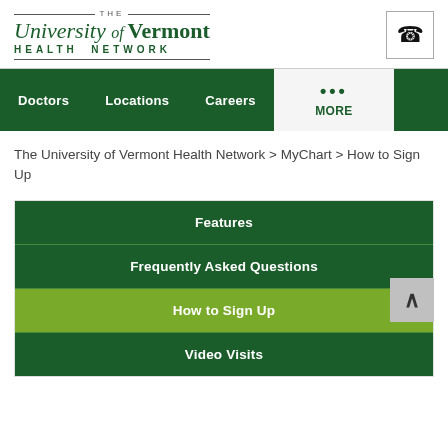[Figure (logo): University of Vermont Health Network logo with phone icon button]
Doctors  Locations  Careers  MORE
The University of Vermont Health Network > MyChart > How to Sign Up
Features
Frequently Asked Questions
How to Sign Up
Video Visits